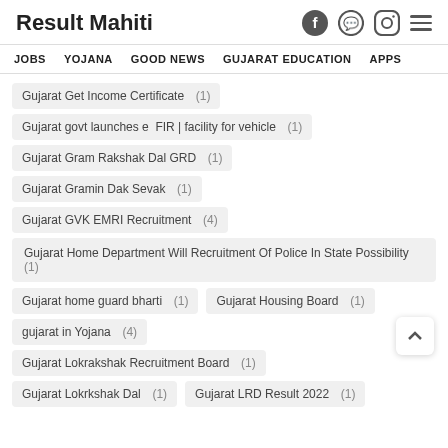Result Mahiti
JOBS
YOJANA
GOOD NEWS
GUJARAT EDUCATION
APPS
Gujarat Get Income Certificate (1)
Gujarat govt launches e FIR | facility for vehicle (1)
Gujarat Gram Rakshak Dal GRD (1)
Gujarat Gramin Dak Sevak (1)
Gujarat GVK EMRI Recruitment (4)
Gujarat Home Department Will Recruitment Of Police In State Possibility (1)
Gujarat home guard bharti (1)
Gujarat Housing Board (1)
gujarat in Yojana (4)
Gujarat Lokrakshak Recruitment Board (1)
Gujarat Lokrkshak Dal (1)
Gujarat LRD Result 2022 (1)